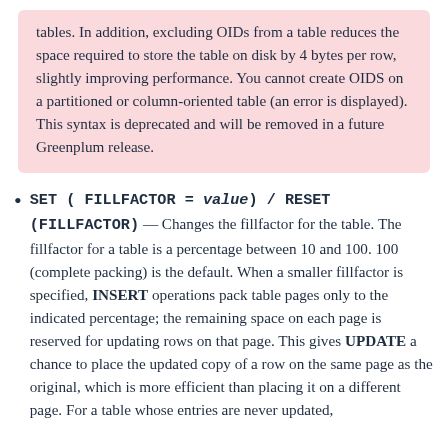tables. In addition, excluding OIDs from a table reduces the space required to store the table on disk by 4 bytes per row, slightly improving performance. You cannot create OIDS on a partitioned or column-oriented table (an error is displayed). This syntax is deprecated and will be removed in a future Greenplum release.
SET ( FILLFACTOR = value) / RESET (FILLFACTOR) — Changes the fillfactor for the table. The fillfactor for a table is a percentage between 10 and 100. 100 (complete packing) is the default. When a smaller fillfactor is specified, INSERT operations pack table pages only to the indicated percentage; the remaining space on each page is reserved for updating rows on that page. This gives UPDATE a chance to place the updated copy of a row on the same page as the original, which is more efficient than placing it on a different page. For a table whose entries are never updated,